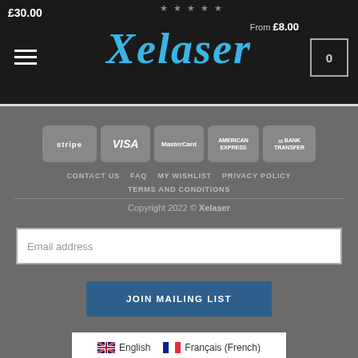£30.00 | From £8.00 | Xelaser | 0
[Figure (screenshot): Xelaser website header with logo, hamburger menu, price labels, and cart icon]
[Figure (infographic): Payment method badges: Stripe, VISA, MasterCard, American Express, Bank Transfer]
CONTACT US   FAQ   MY WISHLIST   PRIVACY POLICY   TERMS AND CONDITIONS
Copyright 2022 © Xelaser
Email address
JOIN MAILING LIST
English   Français (French)